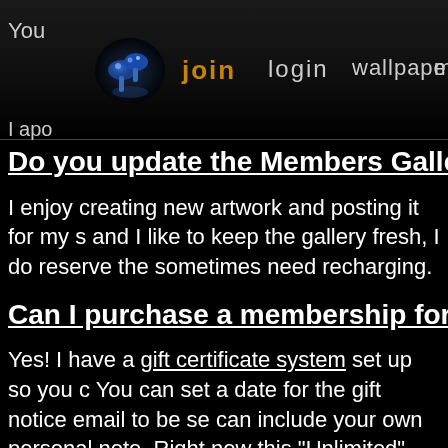You join login wallpapers▼ mem I apo
Do you update the Members Gallery on a
I enjoy creating new artwork and posting it for my s and I like to keep the gallery fresh, I do reserve the sometimes need recharging.
Can I purchase a membership for someo
Yes! I have a gift certificate system set up so you c You can set a date for the gift notice email to be se can include your own personal note. Right now this "Unlimited" variety (meaning they do not auto-rene
Do you offer Lifetime Memberships?